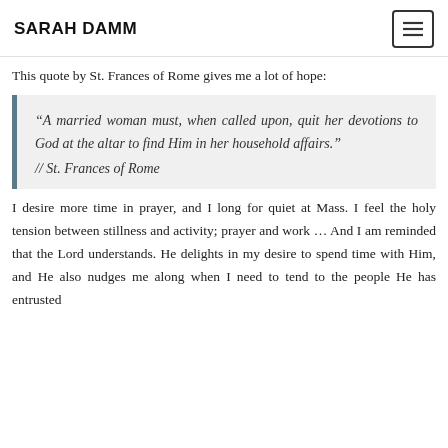SARAH DAMM
This quote by St. Frances of Rome gives me a lot of hope:
“A married woman must, when called upon, quit her devotions to God at the altar to find Him in her household affairs.” // St. Frances of Rome
I desire more time in prayer, and I long for quiet at Mass. I feel the holy tension between stillness and activity; prayer and work … And I am reminded that the Lord understands. He delights in my desire to spend time with Him, and He also nudges me along when I need to tend to the people He has entrusted